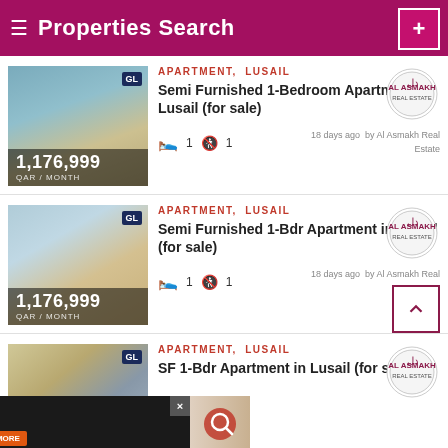Properties Search
APARTMENT, LUSAIL
Semi Furnished 1-Bedroom Apartment in Lusail (for sale)
1,176,999 QAR / MONTH
18 days ago by Al Asmakh Real Estate
APARTMENT, LUSAIL
Semi Furnished 1-Bdr Apartment in Lusail (for sale)
1,176,999 QAR / MONTH
18 days ago by Al Asmakh Real Estate
APARTMENT, LUSAIL
SF 1-Bdr Apartment in Lusail (for sale)
1,176 QAR / MONTH
[Figure (screenshot): Advertisement banner: FIND WALLPAPER INSTALLATION SERVICES CLICK FOR MORE]